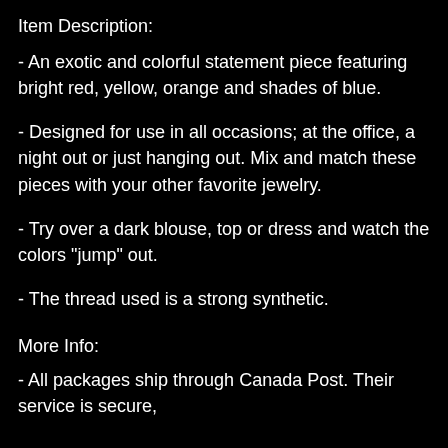Item Description:
- An exotic and colorful statement piece featuring bright red, yellow, orange and shades of blue.
- Designed for use in all occasions; at the office, a night out or just hanging out. Mix and match these pieces with your other favorite jewelry.
- Try over a dark blouse, top or dress and watch the colors "jump" out.
- The thread used is a strong synthetic.
More Info:
- All packages ship through Canada Post. Their service is secure,